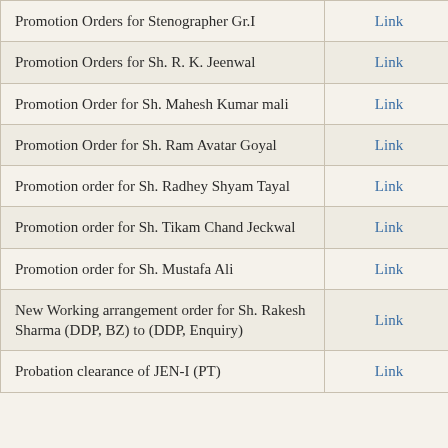| Description | Link |
| --- | --- |
| Promotion Orders for Stenographer Gr.I | Link |
| Promotion Orders for Sh. R. K. Jeenwal | Link |
| Promotion Order for Sh. Mahesh Kumar mali | Link |
| Promotion Order for Sh. Ram Avatar Goyal | Link |
| Promotion order for Sh. Radhey Shyam Tayal | Link |
| Promotion order for Sh. Tikam Chand Jeckwal | Link |
| Promotion order for Sh. Mustafa Ali | Link |
| New Working arrangement order for Sh. Rakesh Sharma (DDP, BZ) to (DDP, Enquiry) | Link |
| Probation clearance of JEN-I (PT) | Link |